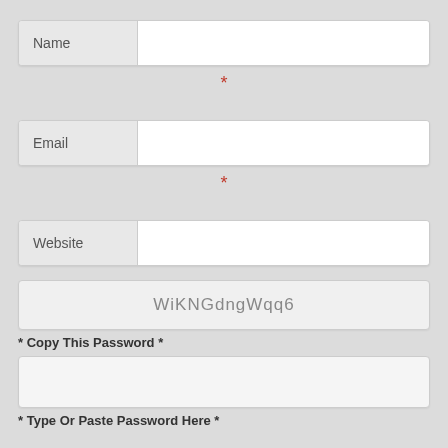Name
*
Email
*
Website
WiKNGdngWqq6
* Copy This Password *
* Type Or Paste Password Here *